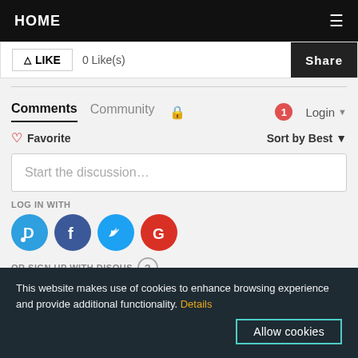HOME
LIKE  0 Like(s)  Share
Comments  Community  🔒  1  Login
♡ Favorite  Sort by Best
Start the discussion…
LOG IN WITH
[Figure (infographic): Four social login icons: Disqus (blue circle with D), Facebook (dark blue circle with f), Twitter (light blue circle with bird), Google (red circle with G)]
OR SIGN UP WITH DISQUS ?
This website makes use of cookies to enhance browsing experience and provide additional functionality. Details  Allow cookies